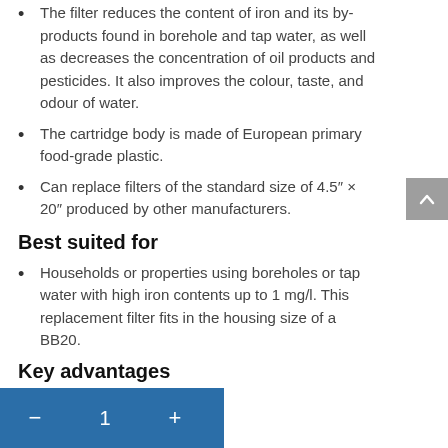The filter reduces the content of iron and its by-products found in borehole and tap water, as well as decreases the concentration of oil products and pesticides. It also improves the colour, taste, and odour of water.
The cartridge body is made of European primary food-grade plastic.
Can replace filters of the standard size of 4.5" × 20" produced by other manufacturers.
Best suited for
Households or properties using boreholes or tap water with high iron contents up to 1 mg/l. This replacement filter fits in the housing size of a BB20.
Key advantages